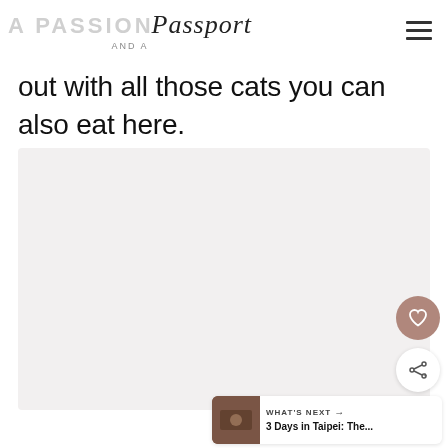A PASSION AND A Passport
out with all those cats you can also eat here.
[Figure (photo): Large light grey/pink placeholder image area for a photo, likely interior of a cat cafe]
WHAT'S NEXT → 3 Days in Taipei: The...